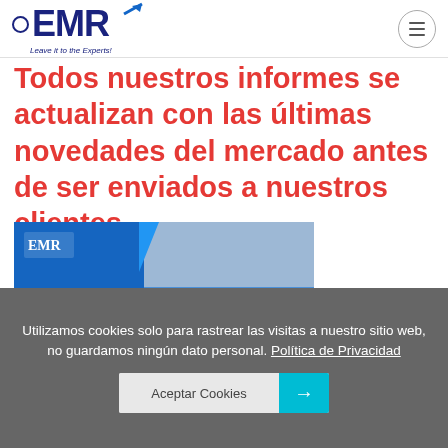[Figure (logo): EMR (Expert Market Research) logo with circular icon and tagline 'Leave it to the Experts!']
Todos nuestros informes se actualizan con las últimas novedades del mercado antes de ser enviados a nuestros clientes.
[Figure (photo): EMR Market Report and Forecast 2022-2027 book cover with blue sidebar and collage of industry images]
Utilizamos cookies solo para rastrear las visitas a nuestro sitio web, no guardamos ningún dato personal. Política de Privacidad
Aceptar Cookies →